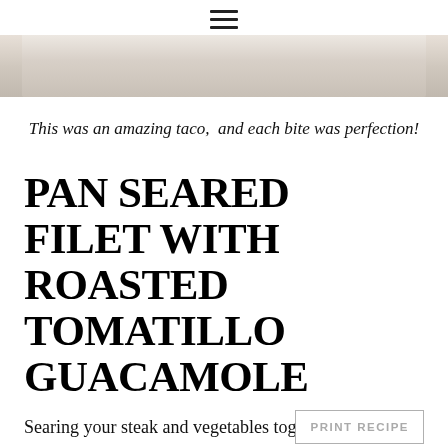≡
[Figure (photo): Partial view of a food dish, likely a bowl with creamy white content, cropped at top of image]
This was an amazing taco,  and each bite was perfection!
PAN SEARED FILET WITH ROASTED TOMATILLO GUACAMOLE
Searing your steak and vegetables together gives your
PRINT RECIPE